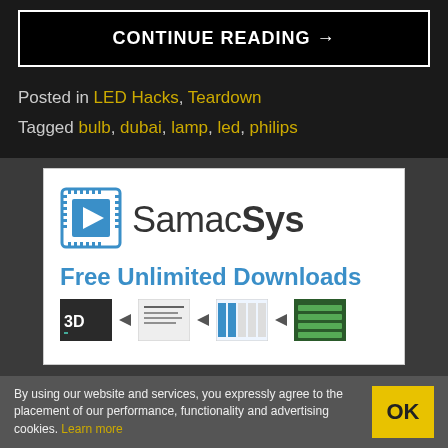CONTINUE READING →
Posted in LED Hacks, Teardown
Tagged bulb, dubai, lamp, led, philips
[Figure (logo): SamacSys advertisement banner with logo, 'Free Unlimited Downloads' text, and 3D model workflow icons]
By using our website and services, you expressly agree to the placement of our performance, functionality and advertising cookies. Learn more